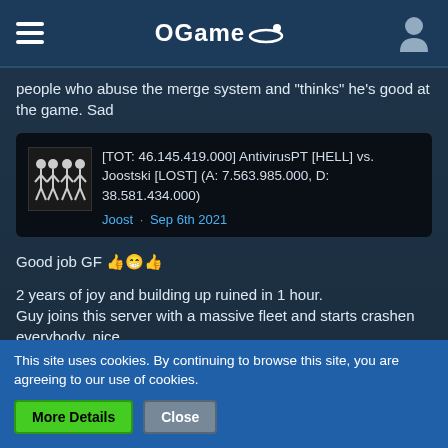OGame
people who abuse the merge system and “thinks” he’s good at the game. Sad
[Figure (screenshot): Battle report card showing: [TOT: 46.145.419.000] AntivirusPT [HELL] vs. Joostski [LOST] (A: 7.563.985.000, D: 38.581.434.000) with stick figure thumbnail. Author: Joost · Sep 6th 2021]
Good job GF 👍😁👍
2 years of joy and building up ruined in 1 hour.
Guy joins this server with a massive fleet and starts crashen everybody, nice
This site uses cookies. By continuing to browse this site, you are agreeing to our use of cookies.